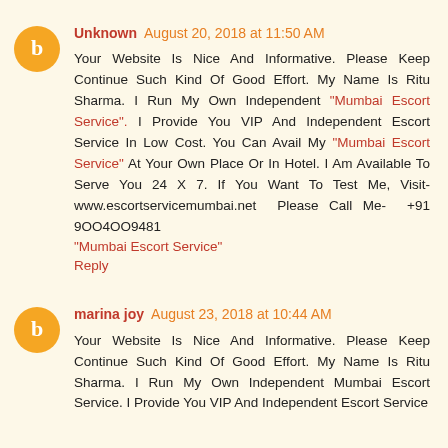Unknown August 20, 2018 at 11:50 AM
Your Website Is Nice And Informative. Please Keep Continue Such Kind Of Good Effort. My Name Is Ritu Sharma. I Run My Own Independent "Mumbai Escort Service". I Provide You VIP And Independent Escort Service In Low Cost. You Can Avail My "Mumbai Escort Service" At Your Own Place Or In Hotel. I Am Available To Serve You 24 X 7. If You Want To Test Me, Visit- www.escortservicemumbai.net Please Call Me- +91 9OO4OO9481
"Mumbai Escort Service"
Reply
marina joy August 23, 2018 at 10:44 AM
Your Website Is Nice And Informative. Please Keep Continue Such Kind Of Good Effort. My Name Is Ritu Sharma. I Run My Own Independent Mumbai Escort Service. I Provide You VIP And Independent Escort Service